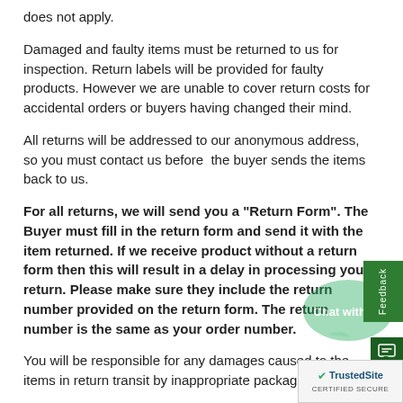does not apply.
Damaged and faulty items must be returned to us for inspection. Return labels will be provided for faulty products. However we are unable to cover return costs for accidental orders or buyers having changed their mind.
All returns will be addressed to our anonymous address, so you must contact us before  the buyer sends the items back to us.
For all returns, we will send you a "Return Form". The Buyer must fill in the return form and send it with the item returned. If we receive product without a return form then this will result in a delay in processing your return. Please make sure they include the return number provided on the return form. The return number is the same as your order number.
You will be responsible for any damages caused to the items in return transit by inappropriate packaging.
We will do our utmost to be fair in all instances, and to help you resolve any problems that our customers may experience. Our main goal above anything else is complete customer satisfaction.
Please note: We do not allow customers to return the products prior to delivery. They will be unable to return the goods back to the driver/courier